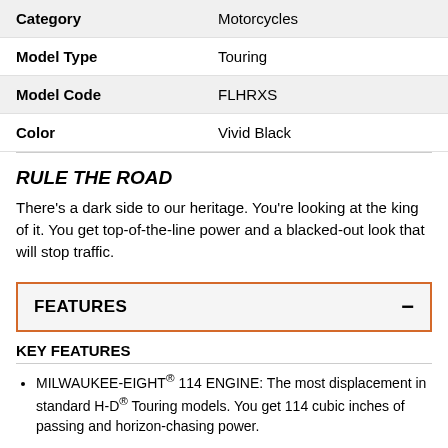| Category | Motorcycles |
| Model Type | Touring |
| Model Code | FLHRXS |
| Color | Vivid Black |
RULE THE ROAD
There's a dark side to our heritage. You're looking at the king of it. You get top-of-the-line power and a blacked-out look that will stop traffic.
FEATURES
KEY FEATURES
MILWAUKEE-EIGHT® 114 ENGINE: The most displacement in standard H-D® Touring models. You get 114 cubic inches of passing and horizon-chasing power.